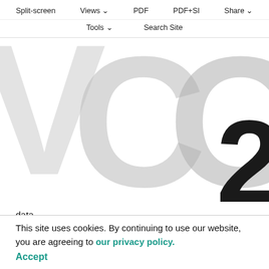Split-screen  Views  PDF  PDF+SI  Share  Tools  Search Site
[Figure (other): Large background VCO2 text graphic, partially visible, in light gray with a large '2' in dark/black at bottom right]
data.
The identification of critical thermal limits using visual observations of knockdown temperatures for individual animals is straightforward (e.g. Klok and Chown, 1997) (for a review, see Hoffmann et al., 2003). However, use of thermolimit respirometry combined with infrared activity detection to identify these same limits necessitates
This site uses cookies. By continuing to use our website, you are agreeing to our privacy policy.
Accept